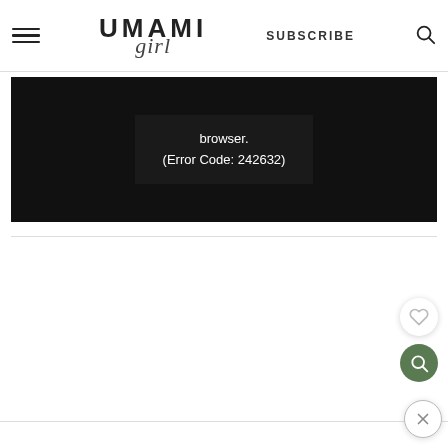UMAMI girl — SUBSCRIBE [search icon]
[Figure (screenshot): Video player error message on black background showing text: 'browser. (Error Code: 242632)']
browser.
(Error Code: 242632)
[Figure (other): Heart (favorite) button — circular white button with heart outline icon]
[Figure (other): Search button — circular green button with magnifying glass icon]
[Figure (other): Close (X) button — circular outlined button with X icon]